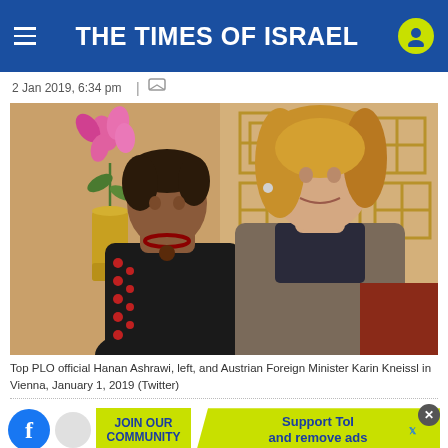THE TIMES OF ISRAEL
2 Jan 2019, 6:34 pm  |
[Figure (photo): Two women posing together indoors. On the left is a shorter older woman with short dark hair wearing a black embroidered dress with red floral patterns and a decorative necklace. On the right is a taller woman with long blonde hair wearing a gray/taupe blazer over a dark top. Background shows pink orchid flowers and a gold geometric wall decoration.]
Top PLO official Hanan Ashrawi, left, and Austrian Foreign Minister Karin Kneissl in Vienna, January 1, 2019 (Twitter)
JOIN OUR COMMUNITY    Support ToI and remove ads